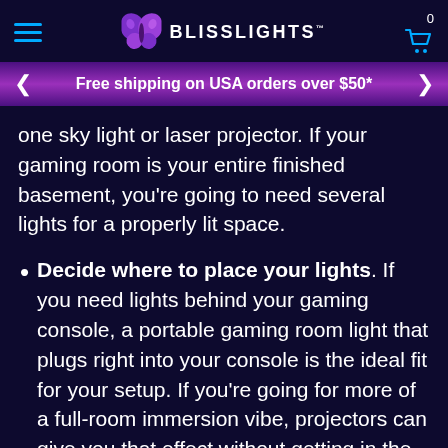BlissLights - header with hamburger menu, logo, and cart
Free shipping on USA orders over $50*
one sky light or laser projector. If your gaming room is your entire finished basement, you're going to need several lights for a properly lit space.
Decide where to place your lights. If you need lights behind your gaming console, a portable gaming room light that plugs right into your console is the ideal fit for your setup. If you're going for more of a full-room immersion vibe, projectors can give you that effect without getting in the way.